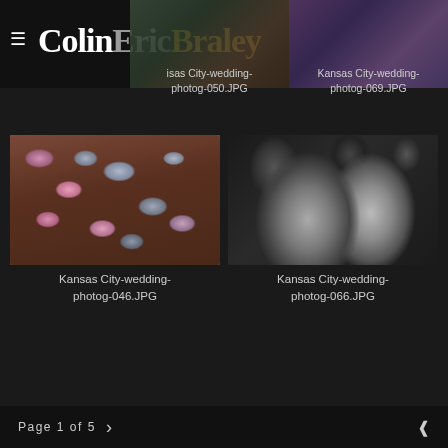ColinEricBraley — hamburger menu + logo
[Figure (photo): Partial view of wedding photo at top left (Kansas City-wedding-photog-050.JPG)]
isas City-wedding-photog-050.JPG
[Figure (photo): Partial view of wedding photo at top right (Kansas City-wedding-photog-069.JPG)]
Kansas City-wedding-photog-069.JPG
[Figure (photo): Close-up photo of pink and gray M&M candies in a dish — Kansas City-wedding-photog-046.JPG]
Kansas City-wedding-photog-046.JPG
[Figure (photo): Black and white photo of two smiling women at a reception — Kansas City-wedding-photog-066.JPG]
Kansas City-wedding-photog-066.JPG
Page 1 of 5